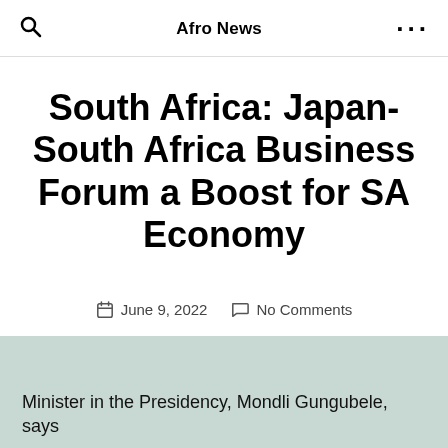Afro News
South Africa: Japan-South Africa Business Forum a Boost for SA Economy
June 9, 2022   No Comments
Minister in the Presidency, Mondli Gungubele, says